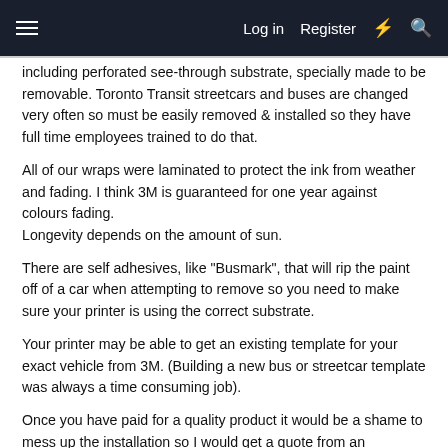Log in  Register
including perforated see-through substrate, specially made to be removable. Toronto Transit streetcars and buses are changed very often so must be easily removed & installed so they have full time employees trained to do that.
All of our wraps were laminated to protect the ink from weather and fading. I think 3M is guaranteed for one year against colours fading.
Longevity depends on the amount of sun.
There are self adhesives, like "Busmark", that will rip the paint off of a car when attempting to remove so you need to make sure your printer is using the correct substrate.
Your printer may be able to get an existing template for your exact vehicle from 3M. (Building a new bus or streetcar template was always a time consuming job).
Once you have paid for a quality product it would be a shame to mess up the installation so I would get a quote from an